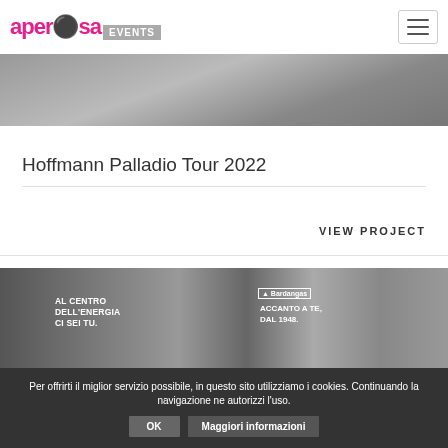[Figure (logo): Aperosa Events logo in pink/magenta graffiti-style font with 'Events' in grey banner]
[Figure (photo): Black and white hero image strip showing an outdoor/landscape scene]
Hoffmann Palladio Tour 2022
VIEW PROJECT
[Figure (photo): Black and white photo of an exhibition trade show floor with booths reading 'AL CENTRO DELL'ENERGIA CI SEI TU.' and 'ACCANTO A TE, DAL 1948.' with Bardangas logo]
Per offrirti il miglior servizio possibile, in questo sito utilizziamo i cookies. Continuando la navigazione ne autorizzi l'uso.